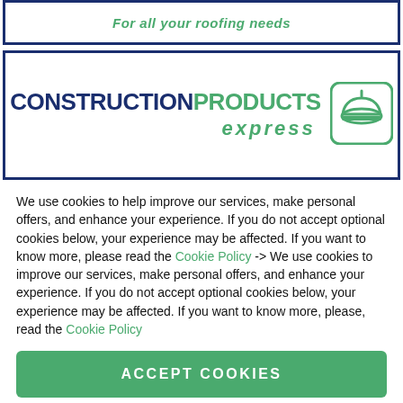For all your roofing needs
[Figure (logo): Construction Products Express logo with dark blue 'CONSTRUCTION' text, green 'PRODUCTS' text, green italic 'express' text, and a green hard hat icon in a rounded square]
We use cookies to help improve our services, make personal offers, and enhance your experience. If you do not accept optional cookies below, your experience may be affected. If you want to know more, please read the Cookie Policy -> We use cookies to improve our services, make personal offers, and enhance your experience. If you do not accept optional cookies below, your experience may be affected. If you want to know more, please, read the Cookie Policy
ACCEPT COOKIES
CUSTOM SETTINGS